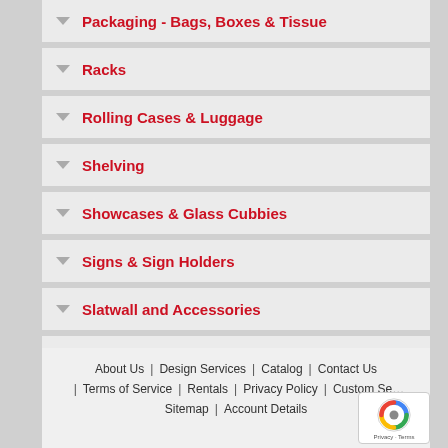Packaging - Bags, Boxes & Tissue
Racks
Rolling Cases & Luggage
Shelving
Showcases & Glass Cubbies
Signs & Sign Holders
Slatwall and Accessories
Store Supplies
Tags, Labels & Pricing Guns
Wall & Free Standing Display Systems
About Us | Design Services | Catalog | Contact Us | Terms of Service | Rentals | Privacy Policy | Custom Se... | Sitemap | Account Details